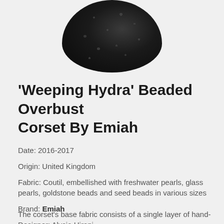[Figure (photo): Circular cropped black and white photo showing a beaded corset with dark beads/pearls closely packed together]
'Weeping Hydra' Beaded Overbust Corset By Emiah
Date: 2016-2017
Origin: United Kingdom
Fabric: Coutil, embellished with freshwater pearls, glass pearls, goldstone beads and seed beads in various sizes
Brand: Emiah
Designer: Alycia Hirani
The corset's base fabric consists of a single layer of hand-